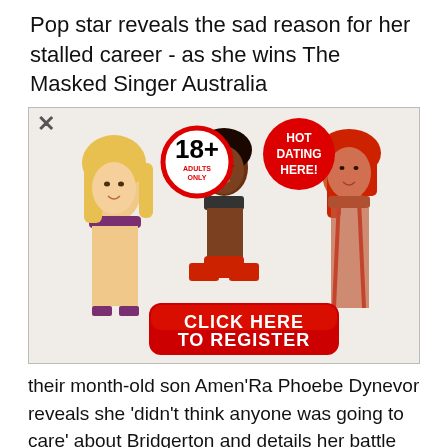Pop star reveals the sad reason for her stalled career - as she wins The Masked Singer Australia
[Figure (photo): Adult dating advertisement with three women in revealing clothing, an 18+ badge, a 'HOT DATING HERE!' badge, and a red 'CLICK HERE TO REGISTER' button]
their month-old son Amen'Ra Phoebe Dynevor reveals she 'didn't think anyone was going to care' about Bridgerton and details her battle with anxiety as she stuns in Harper's Bazaar shoot Cardi B thanks Selena Gomez after receiving